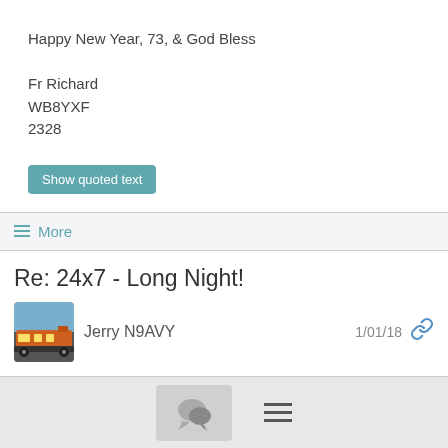Happy New Year, 73, & God Bless

Fr Richard
WB8YXF
2328
Show quoted text
≡ More
Re: 24x7 - Long Night!
Jerry N9AVY   1/01/18
Jody:
[Figure (screenshot): Bottom navigation bar with chat bubble icon and hamburger menu]